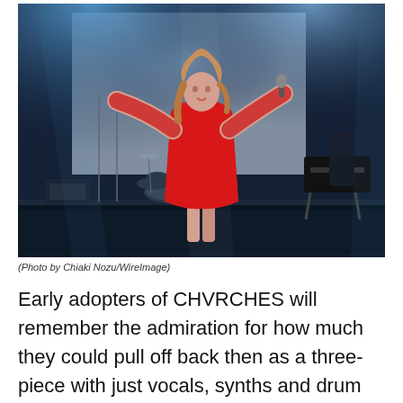[Figure (photo): Concert photo of a female performer in a red dress on stage with arms outstretched, holding a microphone, with stage lighting and equipment visible in the background.]
(Photo by Chiaki Nozu/WireImage)
Early adopters of CHVRCHES will remember the admiration for how much they could pull off back then as a three-piece with just vocals, synths and drum machines. The band before you today are a different, more highly-evolved beast. Real human flesh drummer Jonny Scott adds a real depth and oomph to their sound, while Iain Cook and Martin